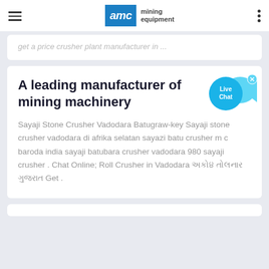AMC mining equipment
get a price crusher plant manufacturer in ...
A leading manufacturer of mining machinery
Sayaji Stone Crusher Vadodara Batugraw-key Sayaji stone crusher vadodara di afrika selatan sayazi batu crusher m c baroda india sayaji batubara crusher vadodara 980 sayaji crusher . Chat Online; Roll Crusher in Vadodara [Gujarati script] Gujarat Get .
[Figure (illustration): Live Chat speech bubble widget with cyan/blue color and a fish-tail shape, with an X close button]